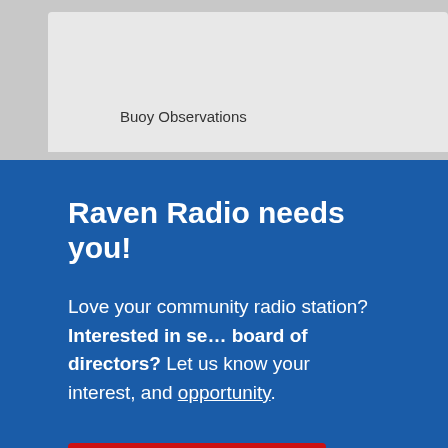Buoy Observations
Raven Radio needs you!
Love your community radio station? Interested in serving on the board of directors? Let us know your interest, and learn about this opportunity.
Click here!
The Moon and Stars
Tsunami Center